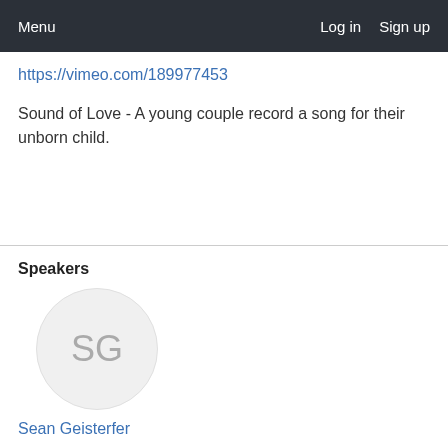Menu   Log in   Sign up
https://vimeo.com/189977453
Sound of Love - A young couple record a song for their unborn child.
Speakers
[Figure (illustration): Avatar circle with initials SG in gray on light gray background]
Sean Geisterfer